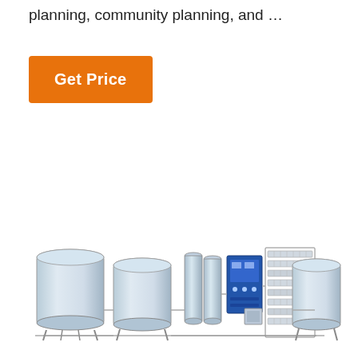planning, community planning, and …
Get Price
[Figure (engineering-diagram): Industrial water purification / reverse osmosis system showing multiple stainless steel storage tanks on the left and right, a central filtration and pump assembly with blue control panel, and a large rack of RO membrane modules, all mounted on a common frame with interconnecting piping.]